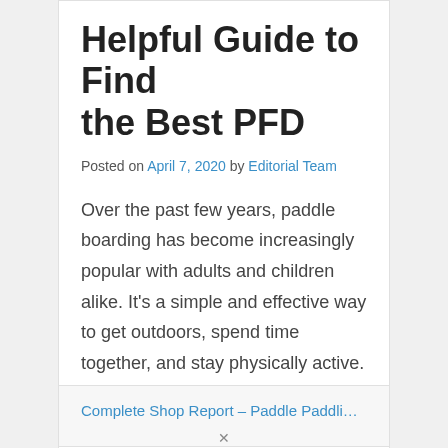Helpful Guide to Find the Best PFD
Posted on April 7, 2020 by Editorial Team
Over the past few years, paddle boarding has become increasingly popular with adults and children alike. It's a simple and effective way to get outdoors, spend time together, and stay physically active. With all of the exciting benefits that paddle boarding offers, a growing number of families with young children are participating. Young kids and [...]